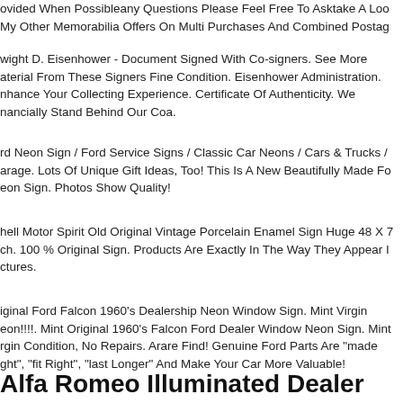ovided When Possibleany Questions Please Feel Free To Asktake A Loo My Other Memorabilia Offers On Multi Purchases And Combined Postag
wight D. Eisenhower - Document Signed With Co-signers. See More aterial From These Signers Fine Condition. Eisenhower Administration. nhance Your Collecting Experience. Certificate Of Authenticity. We nancially Stand Behind Our Coa.
rd Neon Sign / Ford Service Signs / Classic Car Neons / Cars & Trucks / arage. Lots Of Unique Gift Ideas, Too! This Is A New Beautifully Made Fo eon Sign. Photos Show Quality!
hell Motor Spirit Old Original Vintage Porcelain Enamel Sign Huge 48 X 7 ch. 100 % Original Sign. Products Are Exactly In The Way They Appear I ctures.
iginal Ford Falcon 1960's Dealership Neon Window Sign. Mint Virgin eon!!!!. Mint Original 1960's Falcon Ford Dealer Window Neon Sign. Mint rgin Condition, No Repairs. Arare Find! Genuine Ford Parts Are "made ght", "fit Right", "last Longer" And Make Your Car More Valuable!
Alfa Romeo Illuminated Dealer